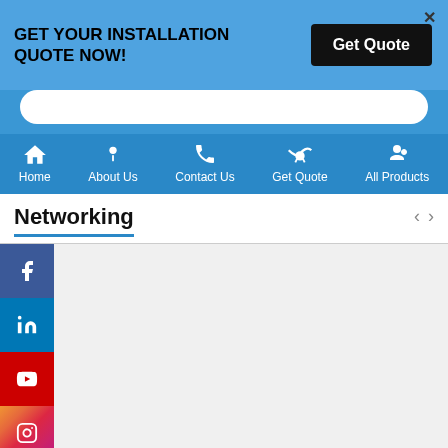GET YOUR INSTALLATION QUOTE NOW!
[Figure (screenshot): Navigation bar with icons: Home, About Us, Contact Us, Get Quote, All Products]
Networking
[Figure (infographic): Social media sidebar buttons: Facebook (blue), LinkedIn (blue), YouTube (red), Instagram (gradient)]
Menu
Support
Home
Track your Order
About Us